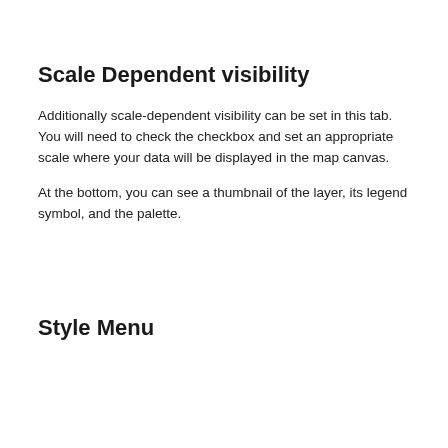Scale Dependent visibility
Additionally scale-dependent visibility can be set in this tab. You will need to check the checkbox and set an appropriate scale where your data will be displayed in the map canvas.
At the bottom, you can see a thumbnail of the layer, its legend symbol, and the palette.
Style Menu